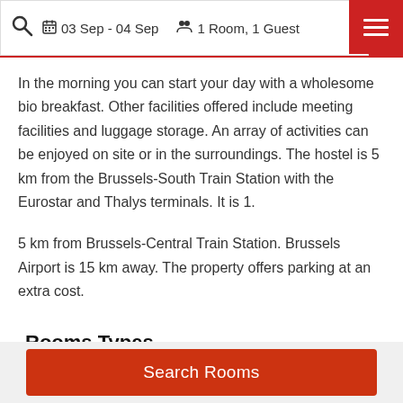03 Sep - 04 Sep  1 Room, 1 Guest
In the morning you can start your day with a wholesome bio breakfast. Other facilities offered include meeting facilities and luggage storage. An array of activities can be enjoyed on site or in the surroundings. The hostel is 5 km from the Brussels-South Train Station with the Eurostar and Thalys terminals. It is 1.
5 km from Brussels-Central Train Station. Brussels Airport is 15 km away. The property offers parking at an extra cost.
Rooms Types